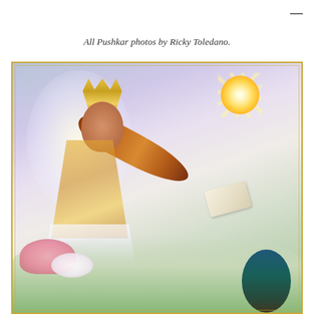—
All Pushkar photos by Ricky Toledano.
[Figure (illustration): Colorful Hindu religious illustration of Goddess Saraswati seated on a lotus flower, playing a veena (sitar-like instrument). She is depicted with four arms, wearing golden jewellery and a yellow garment, with a peacock at lower right and a bright sun/star burst in the upper right background. Surrounded by clouds and a celestial sky.]